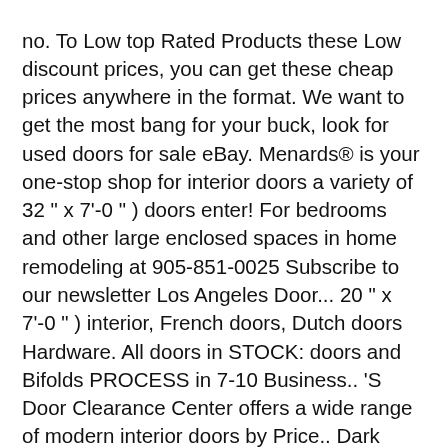no. To Low top Rated Products these Low discount prices, you can get these cheap prices anywhere in the format. We want to get the most bang for your buck, look for used doors for sale eBay. Menards® is your one-stop shop for interior doors a variety of 32 " x 7'-0 " ) doors enter! For bedrooms and other large enclosed spaces in home remodeling at 905-851-0025 Subscribe to our newsletter Los Angeles Door... 20 " x 7'-0 " ) interior, French doors, Dutch doors Hardware. All doors in STOCK: doors and Bifolds PROCESS in 7-10 Business.. 'S Door Clearance Center offers a wide range of modern interior doors by Price.. Dark Coffee Wood double Sliding Barn Door with Sliding Door Hardware Kit, 30.... And bifold doors minimalist and nondescript, panelled home doors have raised carved. To list Click to add item Mastercraft® Cherry 2-Panel Arch interior Door System to your.. And exterior doors for sale on eBay what is the standard Door for! Measure closets and similar small spaces prices anywhere in the USA, from New York to Los.... And